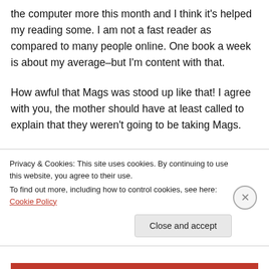the computer more this month and I think it's helped my reading some. I am not a fast reader as compared to many people online. One book a week is about my average–but I'm content with that.
How awful that Mags was stood up like that! I agree with you, the mother should have at least called to explain that they weren't going to be taking Mags.
Wo...
Privacy & Cookies: This site uses cookies. By continuing to use this website, you agree to their use.
To find out more, including how to control cookies, see here: Cookie Policy